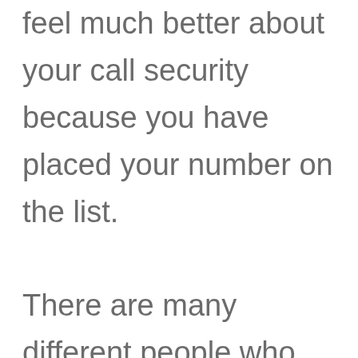feel much better about your call security because you have placed your number on the list. There are many different people who will need information on a number that is calling their phone, and you will avoid phone calls that you should not pick up by checking these